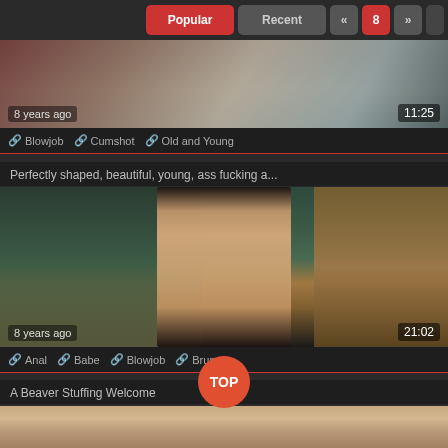Popular | Recent | « | 8 | »
[Figure (photo): Video thumbnail showing bedroom scene, top of page]
8 years ago   11:25
🔗 Blowjob   🔗 Cumshot   🔗 Old and Young
Perfectly shaped, beautiful, young, ass fucking a...
[Figure (photo): Video thumbnail showing woman in luxury room interior, 8 years ago, 21:02]
8 years ago   21:02
🔗 Anal   🔗 Babe   🔗 Blowjob   🔗 Brunette
A Beaver Stuffing Welcome
[Figure (photo): Video thumbnail at bottom of page, partially visible]
TOP